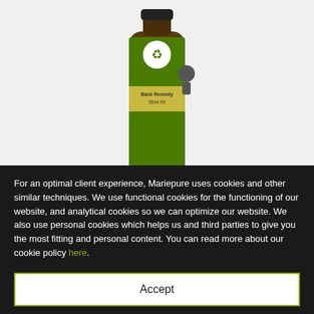[Figure (illustration): A brown glass bottle with a green label featuring the Mariepure logo (white circle with recycling symbol) and an image of a person with a back condition. A yellow band across the label reads 'Back Remedy 50ml Kit'.]
Content 50 ml
Recommended treatment
3 bottles £ 60.00
Your discount £ 27.00
*
For an optimal client experience, Mariepure uses cookies and other similar techniques. We use functional cookies for the functioning of our website, and analytical cookies so we can optimize our website. We also use personal cookies which helps us and third parties to give you the most fitting and personal content. You can read more about our cookie policy here.
Accept